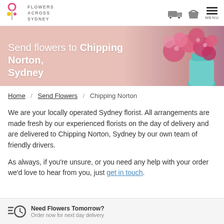Flowers Across Sydney
[Figure (illustration): Hero banner with pink floral background showing 'Send flowers to Chipping Norton, Sydney' with flowers image on right]
Home / Send Flowers / Chipping Norton
We are your locally operated Sydney florist. All arrangements are made fresh by our experienced florists on the day of delivery and are delivered to Chipping Norton, Sydney by our own team of friendly drivers.
As always, if you're unsure, or you need any help with your order we'd love to hear from you, just get in touch.
Need Flowers Tomorrow? Order now for next day delivery